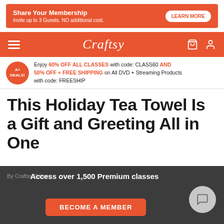[Figure (screenshot): Orange ad banner with text 'Share Your Membership / Invite up to 3 Guests. NO additional cost.' and a white 'LEARN MORE' button]
[Figure (screenshot): Craftsy website navigation bar in orange with hamburger menu, Craftsy logo, shopping bag and user icons]
Enjoy 60% OFF ALL CLASSES with code: CLASS60 AND 50% OFF + FREE SHIPPING on All DVD + Streaming Products with code: FREESHIP
This Holiday Tea Towel Is a Gift and Greeting All in One
By Craftsy Editors
Access over 1,500 Premium classes
BECOME A MEMBER